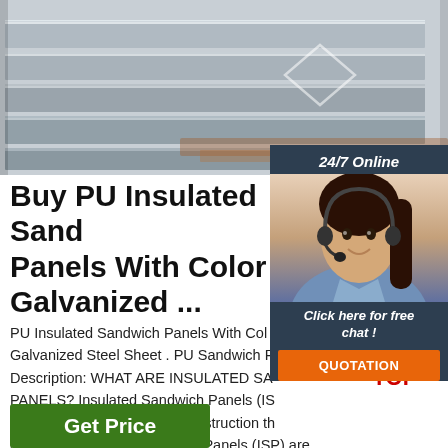[Figure (photo): Stack of metal/steel sheets photographed from above at an angle, showing layered flat steel slabs with a rust/orange accent strip]
[Figure (photo): Chat widget with a female customer service agent wearing a headset, dark navy background with '24/7 Online' header and 'Click here for free chat!' text and orange QUOTATION button]
Buy PU Insulated Sandwich Panels With Color Galvanized ...
PU Insulated Sandwich Panels With Color Galvanized Steel Sheet . PU Sandwich Panel Description: WHAT ARE INSULATED SANDWICH PANELS? Insulated Sandwich Panels (ISP) have been used for commercial construction the past 50 years. Insulated Sandwich Panels (ISP) are made when three separate elements are 'sandwiched together' to form one structure.
[Figure (logo): TOP logo with orange triangular arrow pointing up made of dots, with red 'TOP' text below]
Get Price